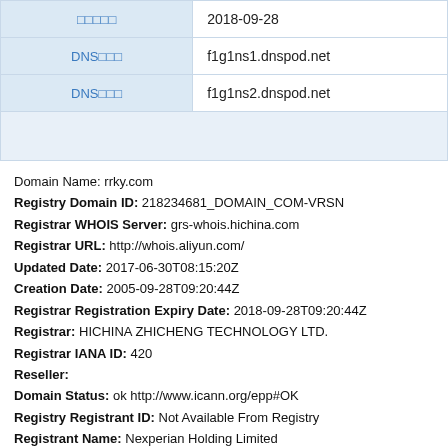| □□□□□ | 2018-09-28 |
| DNS□□□ | f1g1ns1.dnspod.net |
| DNS□□□ | f1g1ns2.dnspod.net |
Domain Name: rrky.com
Registry Domain ID: 218234681_DOMAIN_COM-VRSN
Registrar WHOIS Server: grs-whois.hichina.com
Registrar URL: http://whois.aliyun.com/
Updated Date: 2017-06-30T08:15:20Z
Creation Date: 2005-09-28T09:20:44Z
Registrar Registration Expiry Date: 2018-09-28T09:20:44Z
Registrar: HICHINA ZHICHENG TECHNOLOGY LTD.
Registrar IANA ID: 420
Reseller:
Domain Status: ok http://www.icann.org/epp#OK
Registry Registrant ID: Not Available From Registry
Registrant Name: Nexperian Holding Limited
Registrant Organization: Nexperian Holding Limited
Registrant Street: Le Jia International No.999 Liang Mu Road Yuhan
Registrant City: Hangzhou
Registrant State/Province: Zhejiang
Registrant Postal Code: 311121
Registrant Country: CN